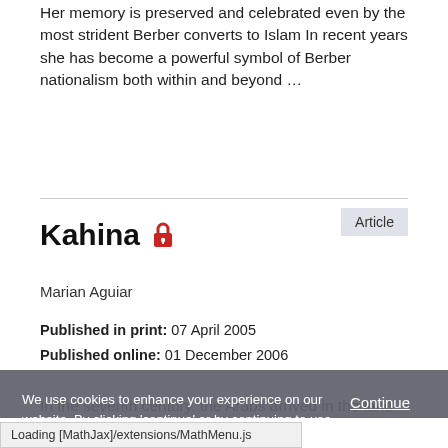Her memory is preserved and celebrated even by the most strident Berber converts to Islam In recent years she has become a powerful symbol of Berber nationalism both within and beyond …
Article
Kahina 🔒
Marian Aguiar
Published in print: 07 April 2005
Published online: 01 December 2006
In the seventh century, the Arabs arrived in the land they
We use cookies to enhance your experience on our website. By clicking 'continue' or by continuing to use our website, you are agreeing to our use of cookies. You can change your cookie settings at any time.
Continue
Find out more
Loading [MathJax]/extensions/MathMenu.js